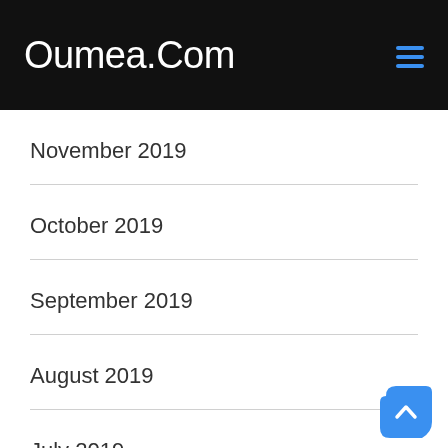Oumea.Com
November 2019
October 2019
September 2019
August 2019
July 2019